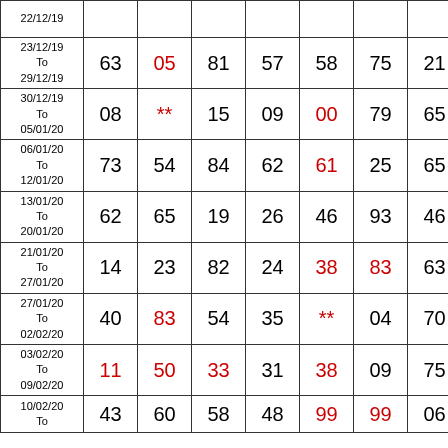| Date | N1 | N2 | N3 | N4 | N5 | N6 | N7 |
| --- | --- | --- | --- | --- | --- | --- | --- |
| 22/12/19 |  |  |  |  |  |  |  |
| 23/12/19 To 29/12/19 | 63 | 05 | 81 | 57 | 58 | 75 | 21 |
| 30/12/19 To 05/01/20 | 08 | ** | 15 | 09 | 00 | 79 | 65 |
| 06/01/20 To 12/01/20 | 73 | 54 | 84 | 62 | 61 | 25 | 65 |
| 13/01/20 To 20/01/20 | 62 | 65 | 19 | 26 | 46 | 93 | 46 |
| 21/01/20 To 27/01/20 | 14 | 23 | 82 | 24 | 38 | 83 | 63 |
| 27/01/20 To 02/02/20 | 40 | 83 | 54 | 35 | ** | 04 | 70 |
| 03/02/20 To 09/02/20 | 11 | 50 | 33 | 31 | 38 | 09 | 75 |
| 10/02/20 To ... | 43 | 60 | 58 | 48 | 99 | 99 | 06 |